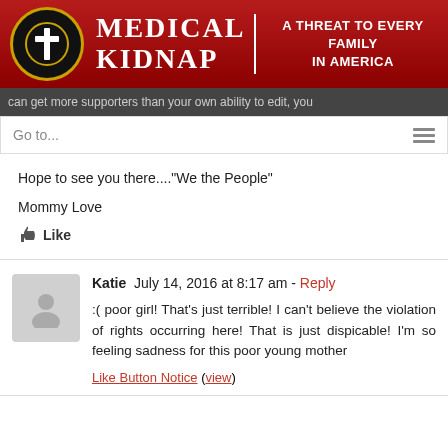[Figure (logo): Medical Kidnap website header banner with red background, circular logo with cross, title 'Medical Kidnap' and subtitle 'A Threat to Every Family in America']
can get more supporters than your own ability to edit, you
Go to...
Hope to see you there...."We the People"
Mommy Love
Like
Katie  July 14, 2016 at 8:17 am - Reply
:( poor girl! That's just terrible! I can't believe the violation of rights occurring here! That is just dispicable! I'm so feeling sadness for this poor young mother
Like Button Notice (view)